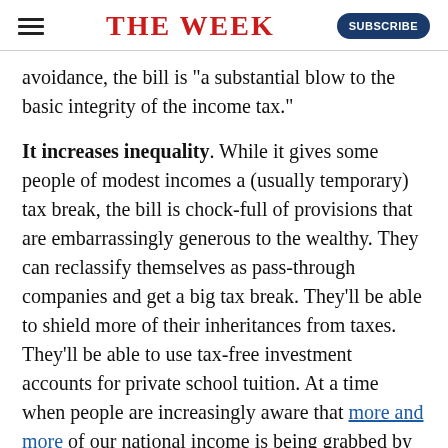THE WEEK
avoidance, the bill is "a substantial blow to the basic integrity of the income tax."
It increases inequality. While it gives some people of modest incomes a (usually temporary) tax break, the bill is chock-full of provisions that are embarrassingly generous to the wealthy. They can reclassify themselves as pass-through companies and get a big tax break. They'll be able to shield more of their inheritances from taxes. They'll be able to use tax-free investment accounts for private school tuition. At a time when people are increasingly aware that more and more of our national income is being grabbed by